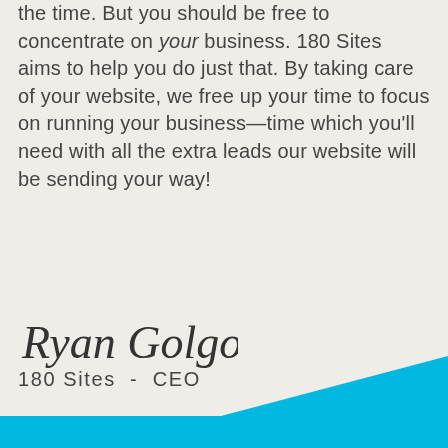the time. But you should be free to concentrate on your business. 180 Sites aims to help you do just that. By taking care of your website, we free up your time to focus on running your business—time which you'll need with all the extra leads our website will be sending your way!
[Figure (illustration): Cursive signature reading 'Ryan Golgosky']
180 Sites - CEO
[Figure (illustration): Diagonal bright blue shape in the bottom-right corner of the page, creating a decorative footer element]